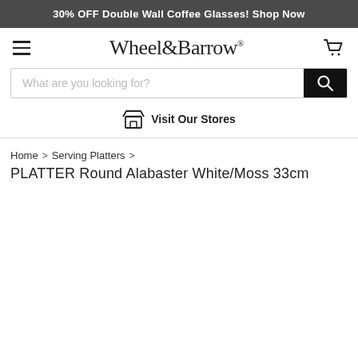30% OFF Double Wall Coffee Glasses! Shop Now
[Figure (logo): Wheel&Barrow logo with hamburger menu icon and cart icon]
What are you looking for?
Visit Our Stores
Home > Serving Platters >
PLATTER Round Alabaster White/Moss 33cm